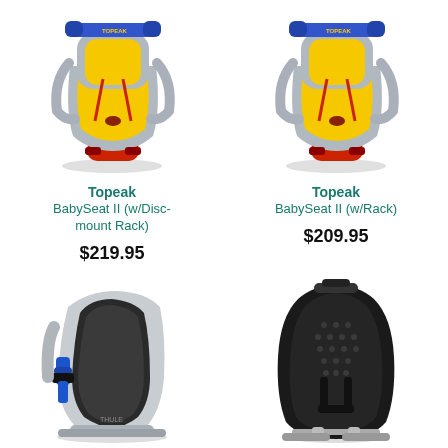[Figure (photo): Topeak BabySeat II with Disc-mount Rack - child bicycle seat in gray/silver with yellow padding, red bottom mount]
Topeak
BabySeat II (w/Disc-mount Rack)
$219.95
[Figure (photo): Topeak BabySeat II with Rack - child bicycle seat in gray/silver with yellow padding, red bottom mount]
Topeak
BabySeat II (w/Rack)
$209.95
[Figure (photo): Silver/gray child bicycle seat shown from the side, with black interior, blue accents, rear-rack mounting]
[Figure (photo): Black child bicycle seat shown from the rear, with black padding and dot pattern, frame mounting bracket at bottom]